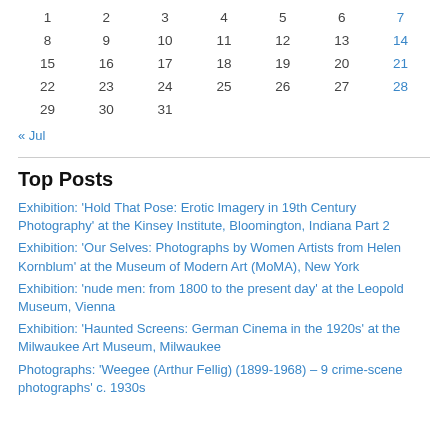| 1 | 2 | 3 | 4 | 5 | 6 | 7 |
| 8 | 9 | 10 | 11 | 12 | 13 | 14 |
| 15 | 16 | 17 | 18 | 19 | 20 | 21 |
| 22 | 23 | 24 | 25 | 26 | 27 | 28 |
| 29 | 30 | 31 |  |  |  |  |
« Jul
Top Posts
Exhibition: 'Hold That Pose: Erotic Imagery in 19th Century Photography' at the Kinsey Institute, Bloomington, Indiana Part 2
Exhibition: 'Our Selves: Photographs by Women Artists from Helen Kornblum' at the Museum of Modern Art (MoMA), New York
Exhibition: 'nude men: from 1800 to the present day' at the Leopold Museum, Vienna
Exhibition: 'Haunted Screens: German Cinema in the 1920s' at the Milwaukee Art Museum, Milwaukee
Photographs: 'Weegee (Arthur Fellig) (1899-1968) – 9 crime-scene photographs' c. 1930s